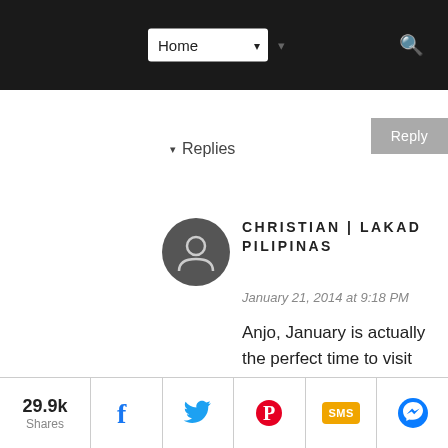Home
Reply
▾ Replies
[Figure (illustration): Dark circular avatar icon with a person silhouette]
CHRISTIAN | LAKAD PILIPINAS
January 21, 2014 at 9:18 PM
Anjo, January is actually the perfect time to visit since this is the coldest months in Baguio. Just time your visit before or after the Panagbenga to avoid the tourist crowd :)
29.9k Shares